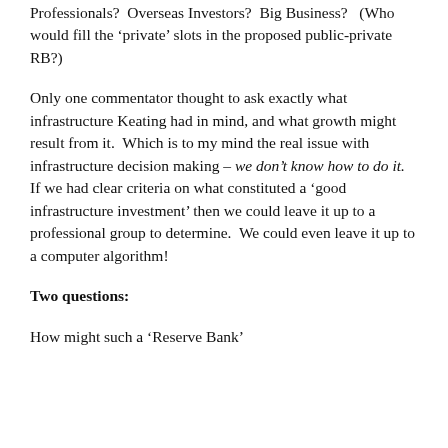Professionals?  Overseas Investors?  Big Business?   (Who would fill the 'private' slots in the proposed public-private RB?)
Only one commentator thought to ask exactly what infrastructure Keating had in mind, and what growth might result from it.  Which is to my mind the real issue with infrastructure decision making – we don't know how to do it.  If we had clear criteria on what constituted a 'good infrastructure investment' then we could leave it up to a professional group to determine.  We could even leave it up to a computer algorithm!
Two questions:
How might such a 'Reserve Bank'